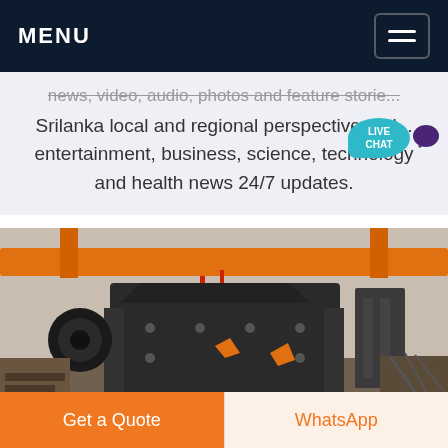MENU
news, video, audio, photos and feature storie... Srilanka local and regional perspectives. Al... entertainment, business, science, technology and health news 24/7 updates.
[Figure (photo): Large industrial impact crusher or jaw crusher machine in a factory/warehouse setting with orange overhead crane beams. The machine is dark grey/black steel with orange accent markers. Industrial machinery surrounds it.]
Get a Quote
WhatsApp